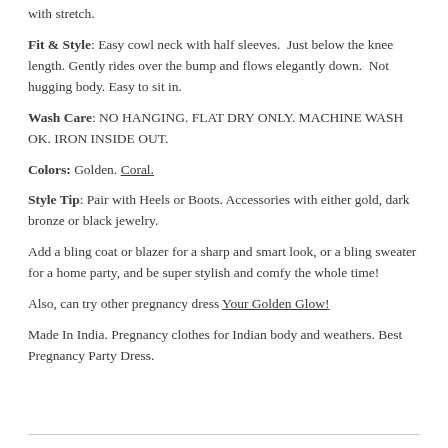with stretch.
Fit & Style: Easy cowl neck with half sleeves. Just below the knee length. Gently rides over the bump and flows elegantly down. Not hugging body. Easy to sit in.
Wash Care: NO HANGING. FLAT DRY ONLY. MACHINE WASH OK. IRON INSIDE OUT.
Colors: Golden. Coral.
Style Tip: Pair with Heels or Boots. Accessories with either gold, dark bronze or black jewelry.
Add a bling coat or blazer for a sharp and smart look, or a bling sweater for a home party, and be super stylish and comfy the whole time!
Also, can try other pregnancy dress Your Golden Glow!
Made In India. Pregnancy clothes for Indian body and weathers. Best Pregnancy Party Dress.